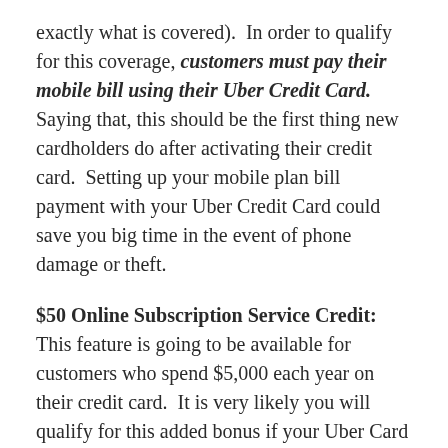exactly what is covered).  In order to qualify for this coverage, customers must pay their mobile bill using their Uber Credit Card.  Saying that, this should be the first thing new cardholders do after activating their credit card.  Setting up your mobile plan bill payment with your Uber Credit Card could save you big time in the event of phone damage or theft.
$50 Online Subscription Service Credit:  This feature is going to be available for customers who spend $5,000 each year on their credit card.  It is very likely you will qualify for this added bonus if your Uber Card is your primary credit card.  Netflix, Hulu, HBO Go, Sirius XM and many more are all eligible streaming services qualifying for this credit.  Additionally, your credit will